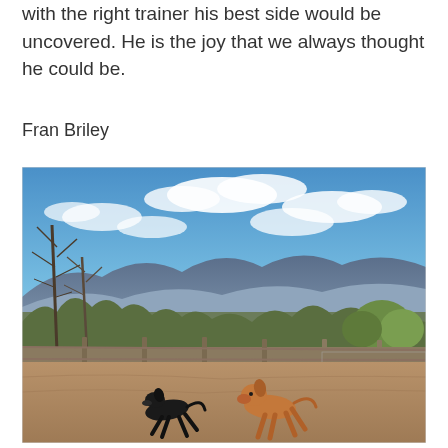with the right trainer his best side would be uncovered. He is the joy that we always thought he could be.
Fran Briley
[Figure (photo): Outdoor photo of two dogs running in a fenced dirt area with a scenic mountain and blue sky backdrop. A black dog and a brown/tan dog are playing. Bare winter trees visible on the left, some green trees on the right. Rolling hills and mountains in the background under a partly cloudy blue sky.]